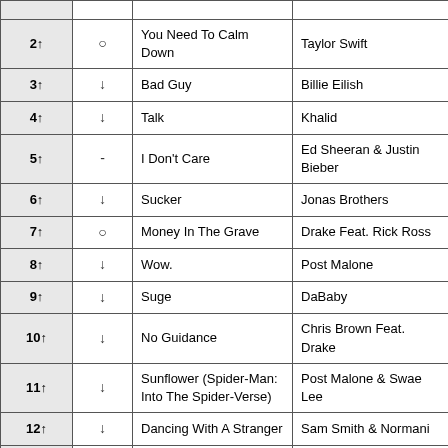| Rank | Trend | Song | Artist |
| --- | --- | --- | --- |
| 2↑ | ○ | You Need To Calm Down | Taylor Swift |
| 3↑ | ↓ | Bad Guy | Billie Eilish |
| 4↑ | ↓ | Talk | Khalid |
| 5↑ | - | I Don't Care | Ed Sheeran & Justin Bieber |
| 6↑ | ↓ | Sucker | Jonas Brothers |
| 7↑ | ○ | Money In The Grave | Drake Feat. Rick Ross |
| 8↑ | ↓ | Wow. | Post Malone |
| 9↑ | ↓ | Suge | DaBaby |
| 10↑ | ↓ | No Guidance | Chris Brown Feat. Drake |
| 11↑ | ↓ | Sunflower (Spider-Man: Into The Spider-Verse) | Post Malone & Swae Lee |
| 12↑ | ↓ | Dancing With A Stranger | Sam Smith & Normani |